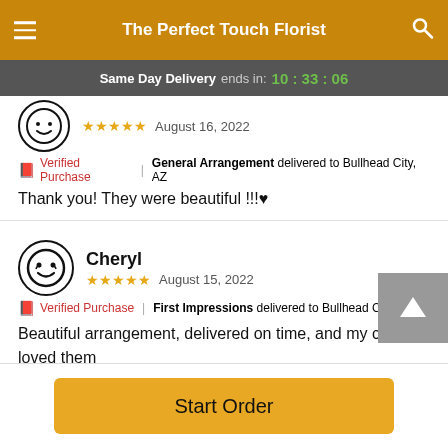The Perfect Touch Florist
Same Day Delivery ends in: 10:33:06
★★★★★  August 16, 2022
Verified Purchase | General Arrangement delivered to Bullhead City, AZ
Thank you! They were beautiful !!!♥
Cheryl
★★★★★  August 15, 2022
Verified Purchase | First Impressions delivered to Bullhead City, AZ
Beautiful arrangement, delivered on time, and my cousin loved them
Start Order